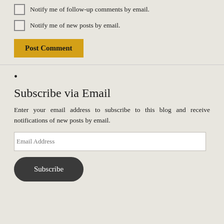Notify me of follow-up comments by email.
Notify me of new posts by email.
Post Comment
•
Subscribe via Email
Enter your email address to subscribe to this blog and receive notifications of new posts by email.
Email Address
Subscribe